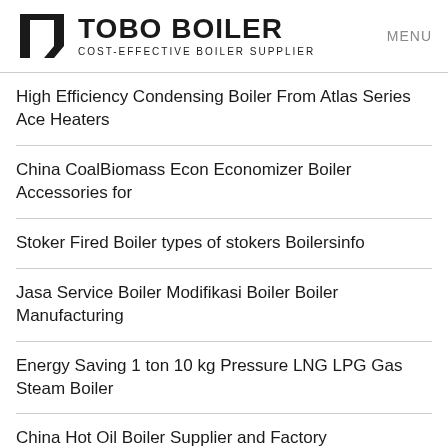TOBO BOILER COST-EFFECTIVE BOILER SUPPLIER | MENU
High Efficiency Condensing Boiler From Atlas Series Ace Heaters
China CoalBiomass Econ Economizer Boiler Accessories for
Stoker Fired Boiler types of stokers Boilersinfo
Jasa Service Boiler Modifikasi Boiler Boiler Manufacturing
Energy Saving 1 ton 10 kg Pressure LNG LPG Gas Steam Boiler
China Hot Oil Boiler Supplier and Factory Manufacturers